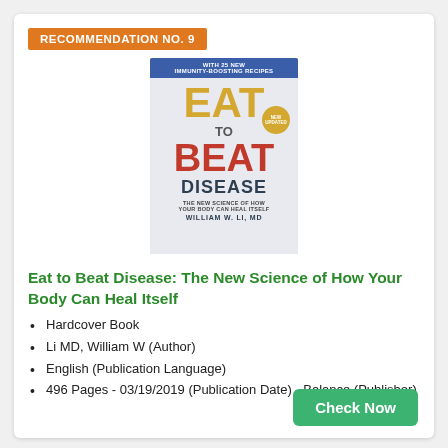RECOMMENDATION NO. 9
[Figure (illustration): Book cover of 'Eat to Beat Disease: The New Science of How Your Body Can Heal Itself' by William W. Li, MD. Cover shows large letters EAT TO BEAT DISEASE with colorful food imagery and a blue top banner reading 'WITH 25 NEW IMMUNITY-BOOSTING RECIPES'.]
Eat to Beat Disease: The New Science of How Your Body Can Heal Itself
Hardcover Book
Li MD, William W (Author)
English (Publication Language)
496 Pages - 03/19/2019 (Publication Date) - Balance (Publisher)